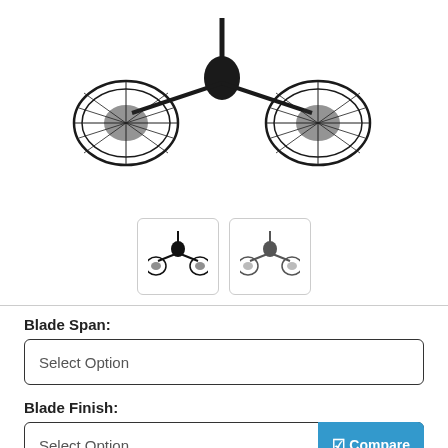[Figure (photo): Dark bronze dual motor ceiling fan with cage-style blade guards, viewed from below]
[Figure (photo): Two thumbnail images of the ceiling fan in different finishes/configurations]
Blade Span:
Select Option
Blade Finish:
Select Option
Compare
LIST-PRICE: $1,225.00 | YOU SAVE  10%